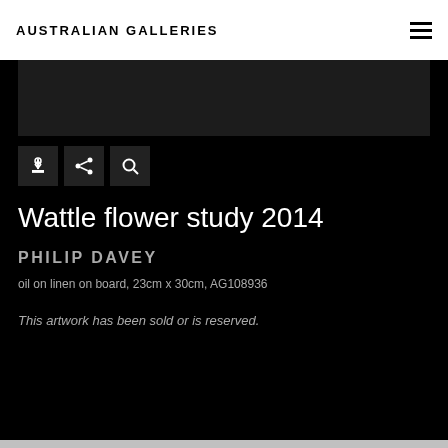Australian Galleries
[Figure (illustration): Dark image bar representing cropped artwork image area]
[Figure (illustration): Three icon buttons: download/add, share, and search]
Wattle flower study 2014
PHILIP DAVEY
oil on linen on board, 23cm x 30cm, AG108936
This artwork has been sold or is reserved.